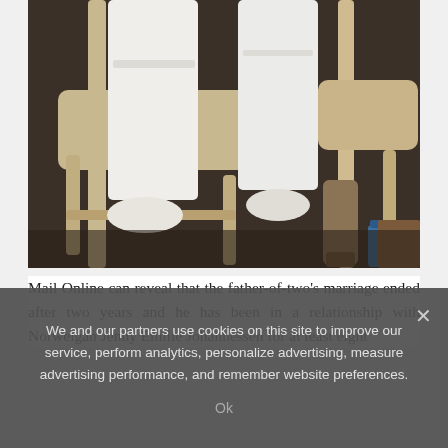[Figure (photo): Photograph showing the lower body of a person seated on a plastic beige/tan chair, wearing white clothing. A second chair is visible to the right. Dark floor visible underneath. A cricket bat or wooden board and a blue water bottle are visible in the lower right area.]
Mail Online can reveal that the father-of-two's marriage ended after two years and he has been in a relationship with Norweigan Jenny Emilie Johannessen for at least eight
We and our partners use cookies on this site to improve our service, perform analytics, personalize advertising, measure advertising performance, and remember website preferences.
Ok